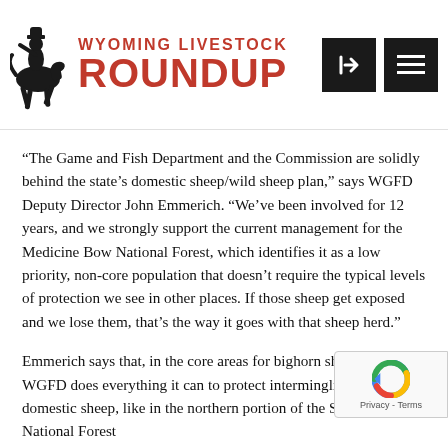Wyoming Livestock Roundup
“The Game and Fish Department and the Commission are solidly behind the state’s domestic sheep/wild sheep plan,” says WGFD Deputy Director John Emmerich. “We’ve been involved for 12 years, and we strongly support the current management for the Medicine Bow National Forest, which identifies it as a low priority, non-core population that doesn’t require the typical levels of protection we see in other places. If those sheep get exposed and we lose them, that’s the way it goes with that sheep herd.”
Emmerich says that, in the core areas for bighorn sheep, the WGFD does everything it can to protect intermingling with domestic sheep, like in the northern portion of the Shoshone National Forest.